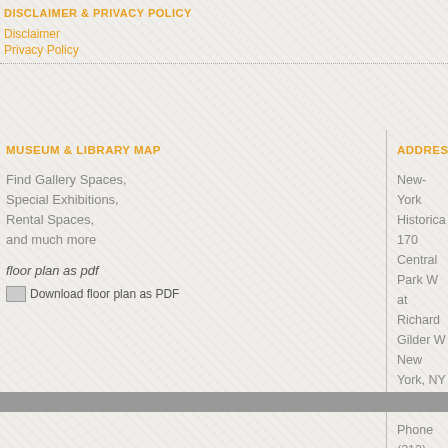DISCLAIMER & PRIVACY POLICY
Disclaimer
Privacy Policy
MUSEUM & LIBRARY MAP
Find Gallery Spaces,
Special Exhibitions,
Rental Spaces,
and much more
floor plan as pdf
Download floor plan as PDF
ADDRESS
New-York Historica
170 Central Park W
at Richard Gilder W
New York, NY 1002
Phone (212) 873-34
TTY (212) 873-748
SIGN UP FOR NEWSL
connect with us
[Figure (other): Social media icon - From...]
[Figure (other): New-York History social icon]
[Figure (other): Follow us on... social icon]
[Figure (other): New-York History social icon]